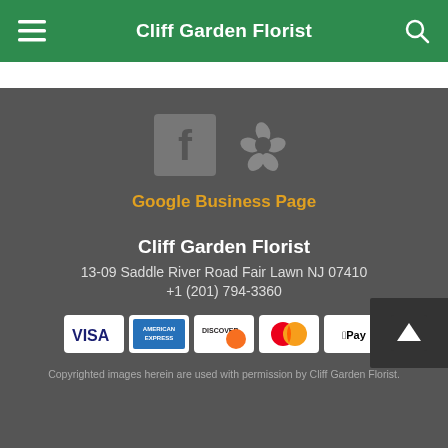Cliff Garden Florist
[Figure (logo): Facebook and Yelp social media icons in gray on dark background]
Google Business Page
Cliff Garden Florist
13-09 Saddle River Road Fair Lawn NJ 07410
+1 (201) 794-3360
[Figure (other): Payment method icons: Visa, American Express, Discover, Mastercard, Apple Pay]
Copyrighted images herein are used with permission by Cliff Garden Florist.